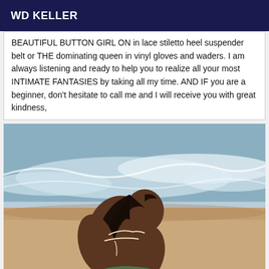WD KELLER
BEAUTIFUL BUTTON GIRL ON in lace stiletto heel suspender belt or THE dominating queen in vinyl gloves and waders. I am always listening and ready to help you to realize all your most INTIMATE FANTASIES by taking all my time. AND IF you are a beginner, don't hesitate to call me and I will receive you with great kindness,
[Figure (photo): A woman with long dark hair in a floral bikini sitting on a beach, viewed from behind, with ocean waves in the background.]